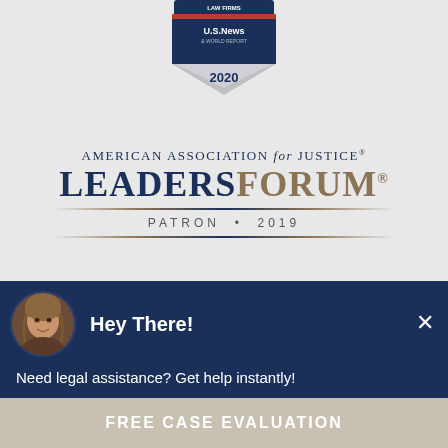[Figure (logo): U.S. News & World Report 2020 Law Firms badge/shield logo at top center]
[Figure (logo): American Association for Justice Leaders Forum Patron 2019 logo with decorative dividers]
[Figure (screenshot): Live chat widget popup showing woman avatar, 'Hey There!' heading, 'Need legal assistance? Get help instantly!' message on dark navy background]
FREE CASE EVALUATION